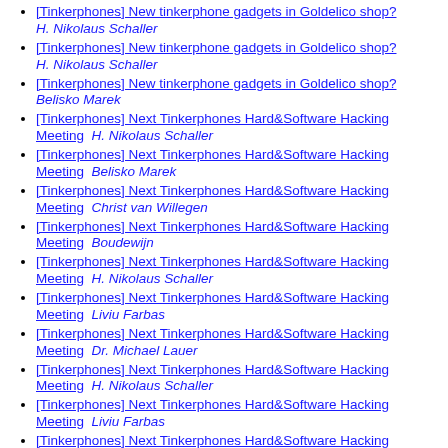[Tinkerphones] New tinkerphone gadgets in Goldelico shop?  H. Nikolaus Schaller
[Tinkerphones] New tinkerphone gadgets in Goldelico shop?  H. Nikolaus Schaller
[Tinkerphones] New tinkerphone gadgets in Goldelico shop?  Belisko Marek
[Tinkerphones] Next Tinkerphones Hard&Software Hacking Meeting  H. Nikolaus Schaller
[Tinkerphones] Next Tinkerphones Hard&Software Hacking Meeting  Belisko Marek
[Tinkerphones] Next Tinkerphones Hard&Software Hacking Meeting  Christ van Willegen
[Tinkerphones] Next Tinkerphones Hard&Software Hacking Meeting  Boudewijn
[Tinkerphones] Next Tinkerphones Hard&Software Hacking Meeting  H. Nikolaus Schaller
[Tinkerphones] Next Tinkerphones Hard&Software Hacking Meeting  Liviu Farbas
[Tinkerphones] Next Tinkerphones Hard&Software Hacking Meeting  Dr. Michael Lauer
[Tinkerphones] Next Tinkerphones Hard&Software Hacking Meeting  H. Nikolaus Schaller
[Tinkerphones] Next Tinkerphones Hard&Software Hacking Meeting  Liviu Farbas
[Tinkerphones] Next Tinkerphones Hard&Software Hacking Meeting